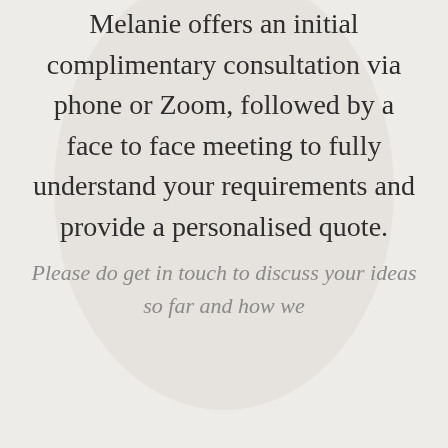Melanie offers an initial complimentary consultation via phone or Zoom, followed by a face to face meeting to fully understand your requirements and provide a personalised quote.
Please do get in touch to discuss your ideas so far and how we